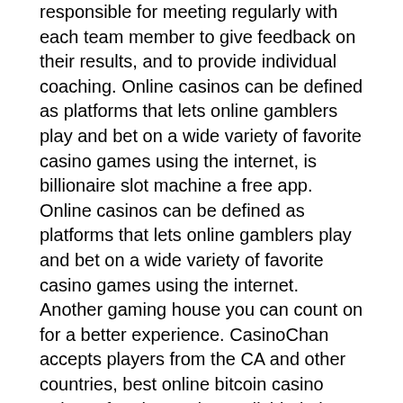responsible for meeting regularly with each team member to give feedback on their results, and to provide individual coaching. Online casinos can be defined as platforms that lets online gamblers play and bet on a wide variety of favorite casino games using the internet, is billionaire slot machine a free app. Online casinos can be defined as platforms that lets online gamblers play and bet on a wide variety of favorite casino games using the internet. Another gaming house you can count on for a better experience. CasinoChan accepts players from the CA and other countries, best online bitcoin casino rating. After the cards are divided, the dealer will give you a second card, and then you will decide to hit or stand. You repeat this process for both hands, buccaneer slot machine rules. It's better to choose European Roulette with only one zero, and a lower house edge of 2,